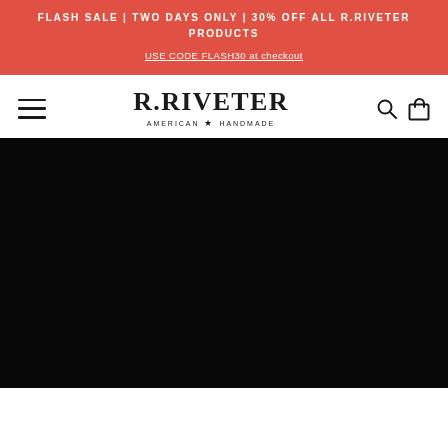FLASH SALE | TWO DAYS ONLY | 30% OFF ALL R.RIVETER PRODUCTS
USE CODE FLASH30 at checkout
[Figure (logo): R.RIVETER logo with hamburger menu, search icon, and shopping bag icon in a navigation bar]
[Figure (photo): Large black hero image area below the navigation bar]